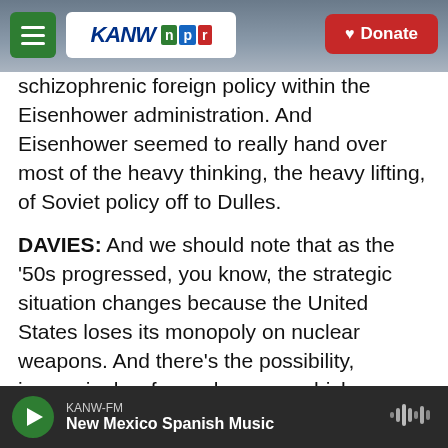KANW NPR — Donate
schizophrenic foreign policy within the Eisenhower administration. And Eisenhower seemed to really hand over most of the heavy thinking, the heavy lifting, of Soviet policy off to Dulles.
DAVIES: And we should note that as the '50s progressed, you know, the strategic situation changes because the United States loses its monopoly on nuclear weapons. And there's the possibility, increasingly, of a nuclear war, which no one wants. So it makes these, you know, kind of brushfire encounters or covert operations kind of a central front. And, you know, so Dulles' perspective
KANW-FM — New Mexico Spanish Music